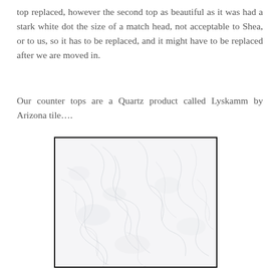top replaced, however the second top as beautiful as it was had a stark white dot the size of a match head, not acceptable to Shea, or to us, so it has to be replaced, and it might have to be replaced after we are moved in.
Our counter tops are a Quartz product called Lyskamm by Arizona tile….
[Figure (photo): A photograph of a white marble/quartz slab surface with subtle grey veining pattern, shown within a black border rectangle. This is the Lyskamm quartz product by Arizona tile.]